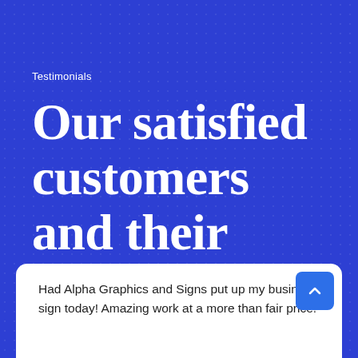Testimonials
Our satisfied customers and their feedback
Had Alpha Graphics and Signs put up my business sign today! Amazing work at a more than fair price!